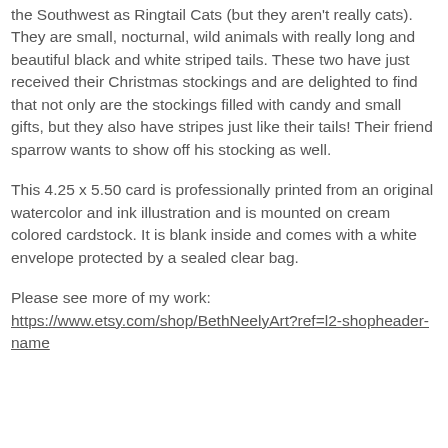the Southwest as Ringtail Cats (but they aren't really cats). They are small, nocturnal, wild animals with really long and beautiful black and white striped tails. These two have just received their Christmas stockings and are delighted to find that not only are the stockings filled with candy and small gifts, but they also have stripes just like their tails! Their friend sparrow wants to show off his stocking as well.
This 4.25 x 5.50 card is professionally printed from an original watercolor and ink illustration and is mounted on cream colored cardstock. It is blank inside and comes with a white envelope protected by a sealed clear bag.
Please see more of my work: https://www.etsy.com/shop/BethNeelyArt?ref=l2-shopheader-name